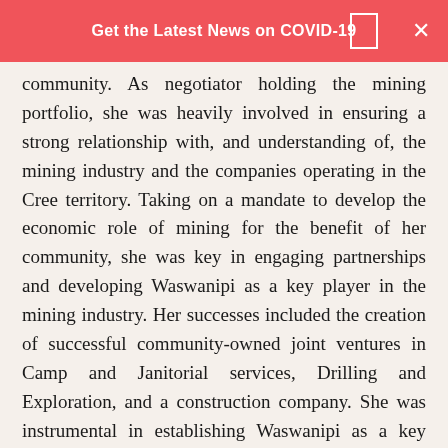Get the Latest News on COVID-19
community. As negotiator holding the mining portfolio, she was heavily involved in ensuring a strong relationship with, and understanding of, the mining industry and the companies operating in the Cree territory. Taking on a mandate to develop the economic role of mining for the benefit of her community, she was key in engaging partnerships and developing Waswanipi as a key player in the mining industry. Her successes included the creation of successful community-owned joint ventures in Camp and Janitorial services, Drilling and Exploration, and a construction company. She was instrumental in establishing Waswanipi as a key player within its traditional